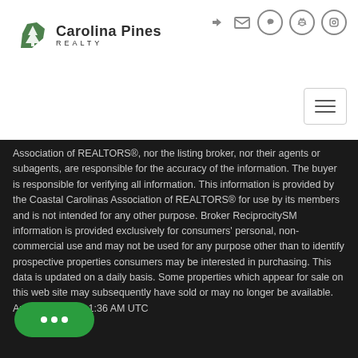[Figure (logo): Carolina Pines Realty logo with green South Carolina shaped icon and text]
Association of REALTORS®, nor the listing broker, nor their agents or subagents, are responsible for the accuracy of the information. The buyer is responsible for verifying all information. This information is provided by the Coastal Carolinas Association of REALTORS® for use by its members and is not intended for any other purpose. Broker ReciprocitySM information is provided exclusively for consumers' personal, non-commercial use and may not be used for any purpose other than to identify prospective properties consumers may be interested in purchasing. This data is updated on a daily basis. Some properties which appear for sale on this web site may subsequently have sold or may no longer be available. August 30, 2022 1:36 AM UTC
[Figure (illustration): Green chat button with three white dots at bottom left of dark section]